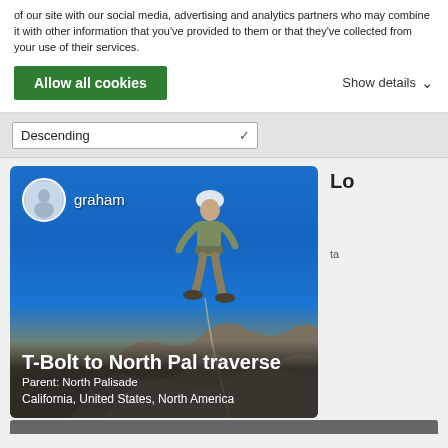of our site with our social media, advertising and analytics partners who may combine it with other information that you've provided to them or that they've collected from your use of their services.
Allow all cookies
Show details
Descending
[Figure (photo): A climber wearing a helmet standing on top of a large boulder against a blue sky. User avatar 'graham' shown in top left of card. Card shows title 'T-Bolt to North Pal traverse', Parent: North Palisade, California, United States, North America.]
T-Bolt to North Pal traverse
Parent: North Palisade
California, United States, North America